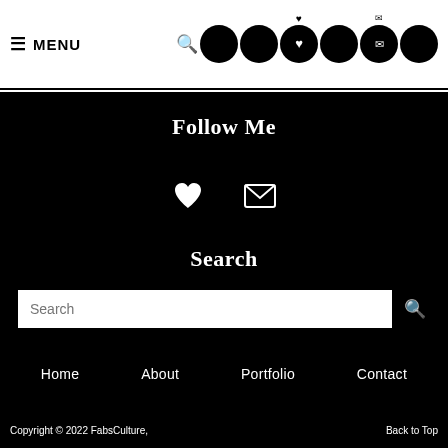≡ MENU  [search] [circle] [circle/heart] [circle] [circle] [circle] [circle]
Follow Me
[Figure (illustration): Two white icons on black background: a heart icon and an envelope/mail icon]
Search
Search [input field with search button]
Home    About    Portfolio    Contact
Copyright © 2022 FabsCulture,    Back to Top